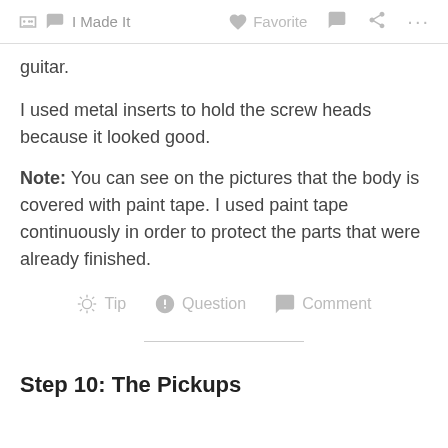✋ I Made It   ♡ Favorite   💬   ⋯
guitar.
I used metal inserts to hold the screw heads because it looked good.
Note: You can see on the pictures that the body is covered with paint tape. I used paint tape continuously in order to protect the parts that were already finished.
💡 Tip   ❓ Question   💬 Comment
Step 10: The Pickups